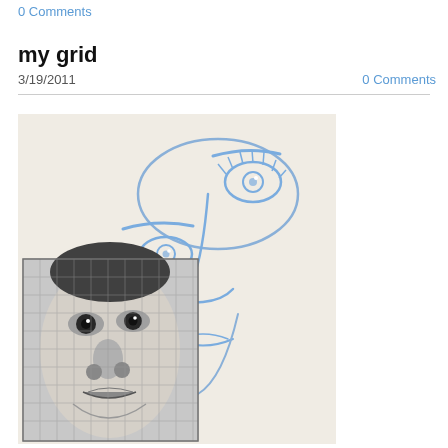0 Comments
my grid
3/19/2011
0 Comments
[Figure (illustration): An artwork in progress: a large blue ballpoint pen or pencil sketch of a face (eyes, eyebrows, nose, lips) drawn on white paper, with a black-and-white gridded reference photograph of a face overlaid in the lower-left portion of the composition.]